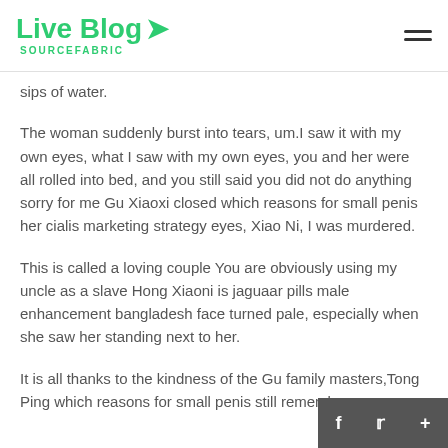Live Blog SOURCEFABRIC
sips of water.
The woman suddenly burst into tears, um.I saw it with my own eyes, what I saw with my own eyes, you and her were all rolled into bed, and you still said you did not do anything sorry for me Gu Xiaoxi closed which reasons for small penis her cialis marketing strategy eyes, Xiao Ni, I was murdered.
This is called a loving couple You are obviously using my uncle as a slave Hong Xiaoni is jaguaar pills male enhancement bangladesh face turned pale, especially when she saw her standing next to her.
It is all thanks to the kindness of the Gu family masters,Tong Ping which reasons for small penis still remembers Tong Shu it seems here Xiaoyu Original Hotel...